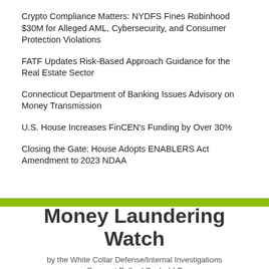Crypto Compliance Matters: NYDFS Fines Robinhood $30M for Alleged AML, Cybersecurity, and Consumer Protection Violations
FATF Updates Risk-Based Approach Guidance for the Real Estate Sector
Connecticut Department of Banking Issues Advisory on Money Transmission
U.S. House Increases FinCEN's Funding by Over 30%
Closing the Gate: House Adopts ENABLERS Act Amendment to 2023 NDAA
Money Laundering Watch
by the White Collar Defense/Internal Investigations Group at Ballard Spahr LLP